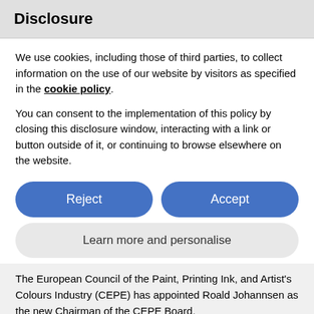Disclosure
We use cookies, including those of third parties, to collect information on the use of our website by visitors as specified in the cookie policy.
You can consent to the implementation of this policy by closing this disclosure window, interacting with a link or button outside of it, or continuing to browse elsewhere on the website.
Reject
Accept
Learn more and personalise
The European Council of the Paint, Printing Ink, and Artist's Colours Industry (CEPE) has appointed Roald Johannsen as the new Chairman of the CEPE Board.
Read more ›